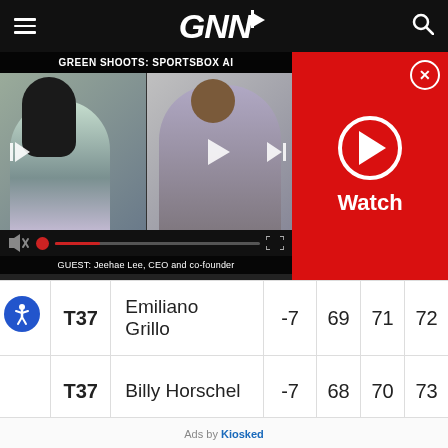GNNi
[Figure (screenshot): Video player showing GREEN SHOOTS: SPORTSBOX AI with two people on a video call. Guest: Jeehae Lee, CEO and co-founder. Red Watch panel on the right.]
|  | Pos | Player | Score | R1 | R2 | R3 |
| --- | --- | --- | --- | --- | --- | --- |
|  | T37 | Emiliano Grillo | -7 | 69 | 71 | 72 |
|  | T37 | Billy Horschel | -7 | 68 | 70 | 73 |
Ads by Kiosked